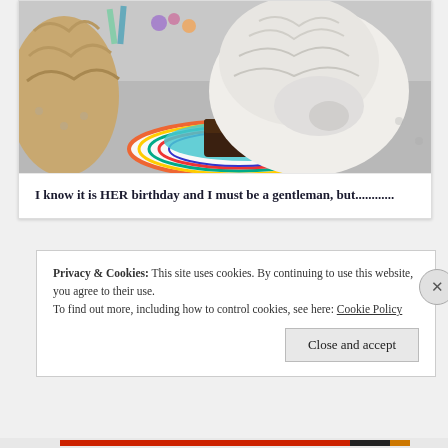[Figure (photo): A white fluffy dog eating from a colorful striped birthday plate with a piece of dark cake/brownie on it. Another dog partially visible on the left.]
I know it is HER birthday and I must be a gentleman, but............
Privacy & Cookies: This site uses cookies. By continuing to use this website, you agree to their use.
To find out more, including how to control cookies, see here: Cookie Policy